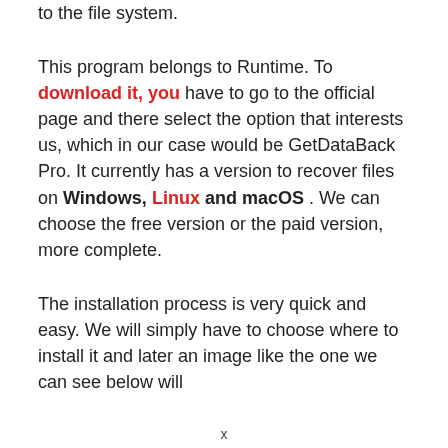to the file system.
This program belongs to Runtime. To download it, you have to go to the official page and there select the option that interests us, which in our case would be GetDataBack Pro. It currently has a version to recover files on Windows, Linux and macOS . We can choose the free version or the paid version, more complete.
The installation process is very quick and easy. We will simply have to choose where to install it and later an image like the one we can see below will